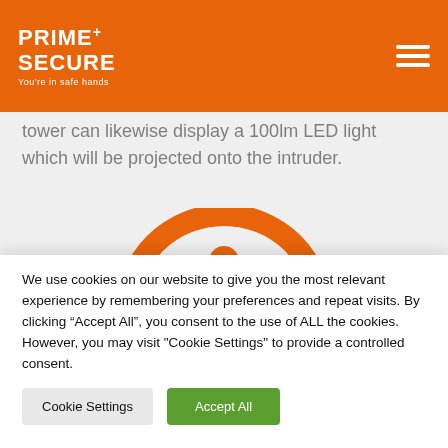Prime+ Secure - You're in safe hands
tower can likewise display a 100lm LED light which will be projected onto the intruder.
[Figure (illustration): Orange circular warning/exclamation mark icon on light grey background]
We use cookies on our website to give you the most relevant experience by remembering your preferences and repeat visits. By clicking “Accept All”, you consent to the use of ALL the cookies. However, you may visit "Cookie Settings" to provide a controlled consent.
Cookie Settings | Accept All